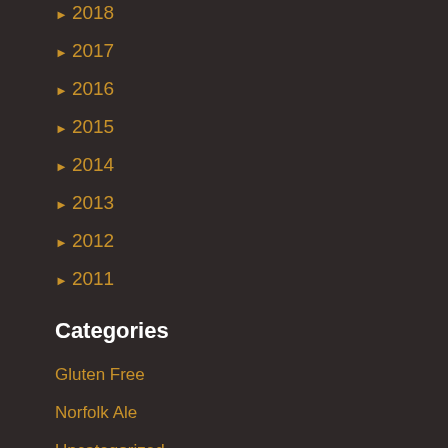► 2018
► 2017
► 2016
► 2015
► 2014
► 2013
► 2012
► 2011
Categories
Gluten Free
Norfolk Ale
Uncategorized